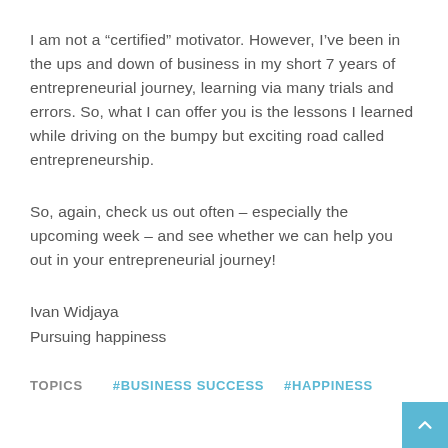I am not a “certified” motivator. However, I’ve been in the ups and down of business in my short 7 years of entrepreneurial journey, learning via many trials and errors. So, what I can offer you is the lessons I learned while driving on the bumpy but exciting road called entrepreneurship.
So, again, check us out often – especially the upcoming week – and see whether we can help you out in your entrepreneurial journey!
Ivan Widjaya
Pursuing happiness
TOPICS   #BUSINESS SUCCESS   #HAPPINESS